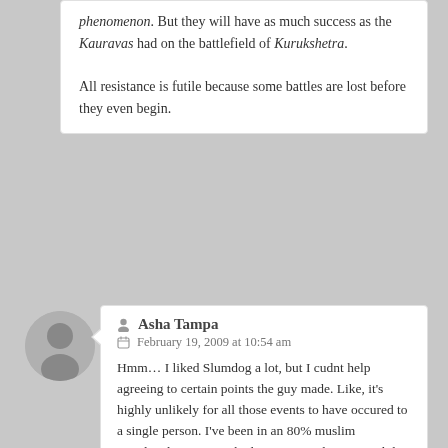phenomenon. But they will have as much success as the Kauravas had on the battlefield of Kurukshetra.

All resistance is futile because some battles are lost before they even begin.
Asha Tampa
February 19, 2009 at 10:54 am
Hmm… I liked Slumdog a lot, but I cudnt help agreeing to certain points the guy made. Like, it's highly unlikely for all those events to have occured to a single person. I've been in an 80% muslim populated area since the last 3 yrs, and not once did I find any differences between religions. But well, I know your point pertains to other places where riots are rampant.

All things considered, I enjoyed the movie, so I was ok with those odd points that crept in now and then. Anyways, I watched Dev D yesterday nite… I found it lacking in all respects except the acting; the lead actors were superb. The movie